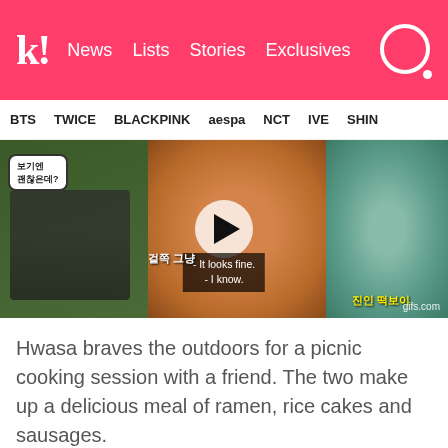k! News Lists Stories Exclusives
BTS TWICE BLACKPINK aespa NCT IVE SHIN
[Figure (screenshot): Video thumbnail showing a Korean TV show clip with subtitles 'It looks fine. - I know.' and Korean text, featuring food cooking scene and a play button overlay]
Hwasa braves the outdoors for a picnic cooking session with a friend. The two make up a delicious meal of ramen, rice cakes and sausages.
[Figure (screenshot): Bottom portion of another video thumbnail showing outdoor greenery scene with MBC watermark]